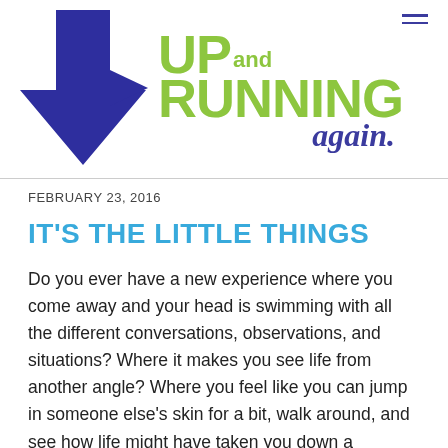[Figure (logo): Up and Running Again logo: blue arrow/person icon on left, green bold text 'UP and RUNNING' with blue italic script 'again.' on right]
FEBRUARY 23, 2016
IT'S THE LITTLE THINGS
Do you ever have a new experience where you come away and your head is swimming with all the different conversations, observations, and situations? Where it makes you see life from another angle? Where you feel like you can jump in someone else's skin for a bit, walk around, and see how life might have taken you down a